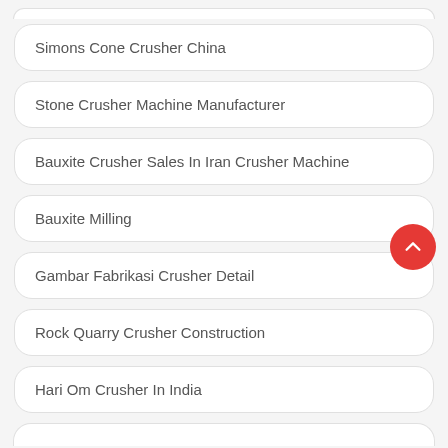Simons Cone Crusher China
Stone Crusher Machine Manufacturer
Bauxite Crusher Sales In Iran Crusher Machine
Bauxite Milling
Gambar Fabrikasi Crusher Detail
Rock Quarry Crusher Construction
Hari Om Crusher In India